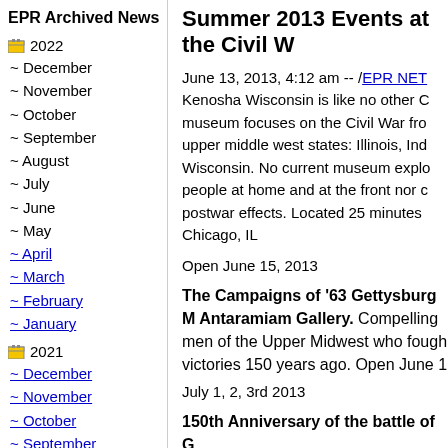EPR Archived News
2022
~ December
~ November
~ October
~ September
~ August
~ July
~ June
~ May
~ April
~ March
~ February
~ January
2021
~ December
~ November
~ October
~ September
~ August
~ July
~ June
Summer 2013 Events at the Civil W
June 13, 2013, 4:12 am -- /EPR NET Kenosha Wisconsin is like no other C museum focuses on the Civil War fro upper middle west states: Illinois, Ind Wisconsin. No current museum explo people at home and at the front nor c postwar effects. Located 25 minutes Chicago, IL
Open June 15, 2013
The Campaigns of '63 Gettysburg M Antaramiam Gallery. Compelling men of the Upper Midwest who fough victories 150 years ago. Open June 1
July 1, 2, 3rd 2013
150th Anniversary of the battle of G Kenosha - Commemorate the Upper
Monday, July 1st - 1pm